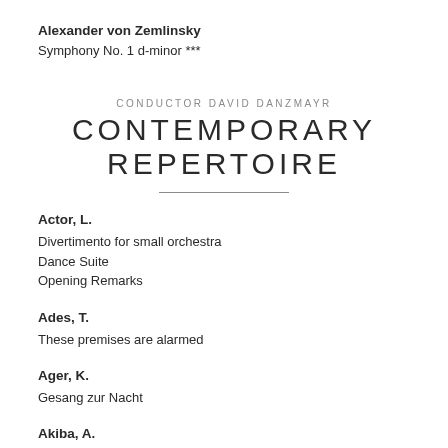Alexander von Zemlinsky
Symphony No. 1 d-minor ***
CONDUCTOR DAVID DANZMAYR
CONTEMPORARY REPERTOIRE
Actor, L.
Divertimento for small orchestra
Dance Suite
Opening Remarks
Ades, T.
These premises are alarmed
Ager, K.
Gesang zur Nacht
Akiba, A.